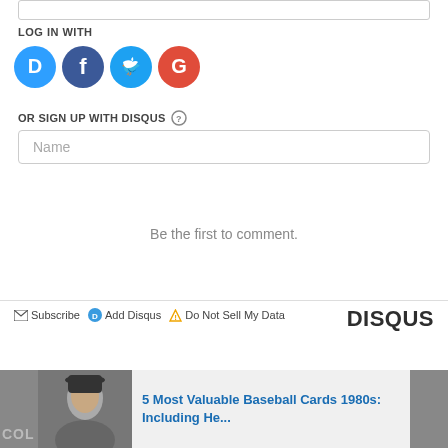[Figure (screenshot): Top input bar (partial, cropped at top)]
LOG IN WITH
[Figure (infographic): Four social login icons: Disqus (blue circle with D), Facebook (dark blue circle with f), Twitter (light blue circle with bird), Google (red circle with G)]
OR SIGN UP WITH DISQUS (?)
[Figure (screenshot): Name input text field with placeholder text 'Name']
Be the first to comment.
Subscribe  Add Disqus  Do Not Sell My Data   DISQUS
[Figure (screenshot): Bottom recommendation bar showing a thumbnail of a man and article title '5 Most Valuable Baseball Cards 1980s: Including He...' with COL text on left]
5 Most Valuable Baseball Cards 1980s: Including He...